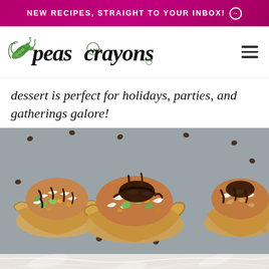NEW RECIPES, STRAIGHT TO YOUR INBOX! →
[Figure (logo): Peas and Crayons blog logo with illustrated pea pods and hand-lettered script text]
dessert is perfect for holidays, parties, and gatherings galore!
[Figure (photo): Three small phyllo pastry cups filled with nuts, coconut flakes, pistachios, and drizzled with chocolate sauce, on a gray surface scattered with chocolate chips]
[Figure (photo): Marble surface background, partially visible at bottom of page]